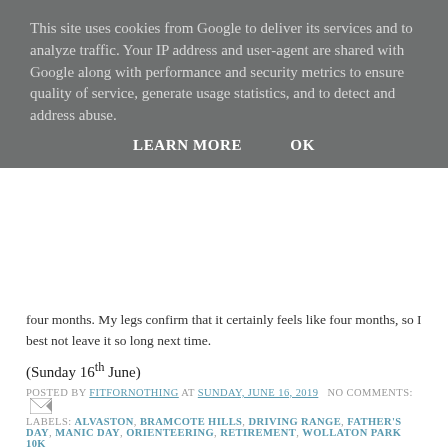This site uses cookies from Google to deliver its services and to analyze traffic. Your IP address and user-agent are shared with Google along with performance and security metrics to ensure quality of service, generate usage statistics, and to detect and address abuse.
LEARN MORE   OK
four months. My legs confirm that it certainly feels like four months, so I best not leave it so long next time.
(Sunday 16th June)
POSTED BY FITFORNOTHING AT SUNDAY, JUNE 16, 2019  NO COMMENTS:
LABELS: ALVASTON, BRAMCOTE HILLS, DRIVING RANGE, FATHER'S DAY, MANIC DAY, ORIENTEERING, RETIREMENT, WOLLATON PARK 10K
FRIDAY, 14 JUNE 2019
Not Just Hairy But Wet Too
[Figure (logo): Logo with text THE and a stylized circular graphic mark in dark red/maroon color]